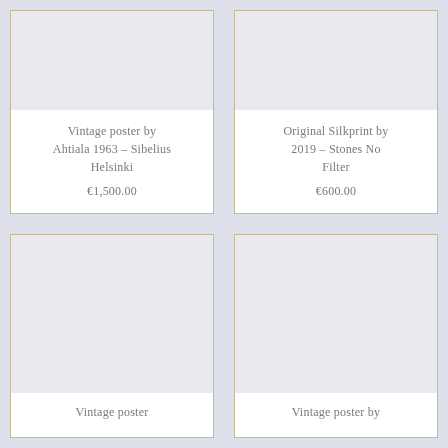[Figure (other): Product card top-left: image placeholder (light gray) above text. Title: Vintage poster by Ahtiala 1963 – Sibelius Helsinki. Price: €1,500.00]
Vintage poster by Ahtiala 1963 – Sibelius Helsinki
€1,500.00
[Figure (other): Product card top-right: image placeholder (light gray) above text. Title: Original Silkprint by 2019 – Stones No Filter. Price: €600.00]
Original Silkprint by 2019 – Stones No Filter
€600.00
[Figure (other): Product card bottom-left: image placeholder (light gray) with partial title text at bottom: Vintage poster]
Vintage poster
[Figure (other): Product card bottom-right: image placeholder (light gray) with partial title text at bottom: Vintage poster by]
Vintage poster by